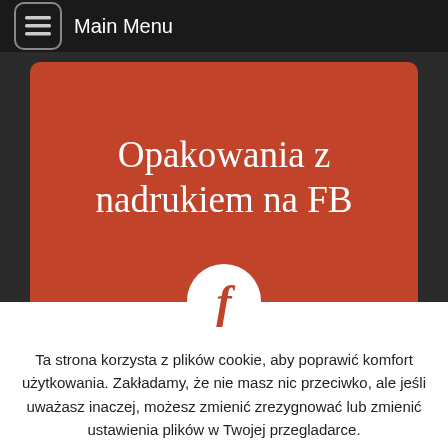Main Menu
[Figure (illustration): Red card with white serif text 'Opakowania z nadrukiem na FB' and a white circle with a Facebook 'f' logo at the bottom center]
Ta strona korzysta z plików cookie, aby poprawić komfort użytkowania. Zakładamy, że nie masz nic przeciwko, ale jeśli uważasz inaczej, możesz zmienić zrezygnować lub zmienić ustawienia plików w Twojej przegladarce.
Ustawienia plików cookie
AKCEPTUJE